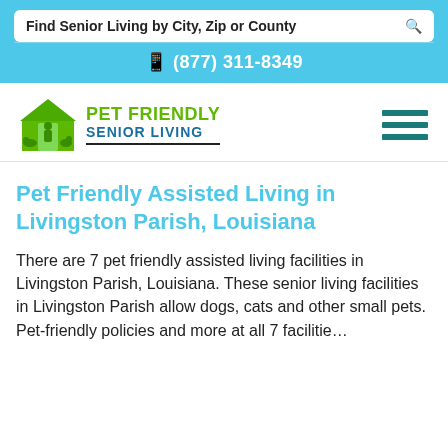Find Senior Living by City, Zip or County
(877) 311-8349
[Figure (logo): Pet Friendly Senior Living logo with green house and animal silhouettes]
Pet Friendly Assisted Living in Livingston Parish, Louisiana
There are 7 pet friendly assisted living facilities in Livingston Parish, Louisiana. These senior living facilities in Livingston Parish allow dogs, cats and other small pets. Pet-friendly policies and more at all 7 facilities.